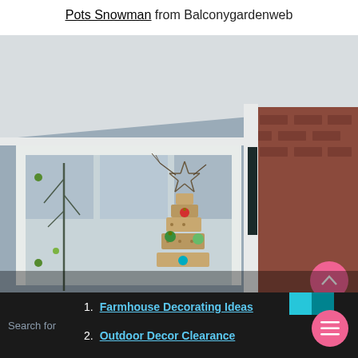Pots Snowman from Balconygardenweb
[Figure (photo): Outdoor Christmas decoration: a rustic wooden stacked-plank Christmas tree with colorful ornaments and a wire star topper, photographed in front of a white window and brick house exterior with white gutters and a dark shutter.]
Search for
1. Farmhouse Decorating Ideas
2. Outdoor Decor Clearance